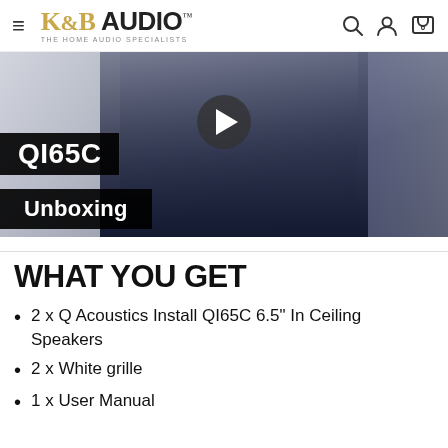K&B AUDIO™ THE HOME AUDIO SPECIALISTS
[Figure (screenshot): Video thumbnail showing a person holding a speaker box in a workshop setting. Video title overlay shows 'QI65C' and 'Unboxing' with a play button.]
WHAT YOU GET
2 x Q Acoustics Install QI65C 6.5" In Ceiling Speakers
2 x White grille
1 x User Manual